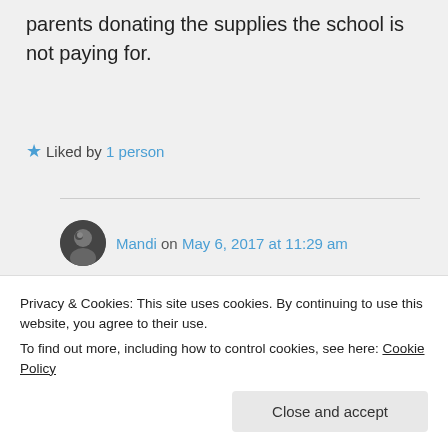parents donating the supplies the school is not paying for.
★ Liked by 1 person
Mandi on May 6, 2017 at 11:29 am
I think this is a great place of opportunity to appreciate our teachers.
Privacy & Cookies: This site uses cookies. By continuing to use this website, you agree to their use.
To find out more, including how to control cookies, see here: Cookie Policy